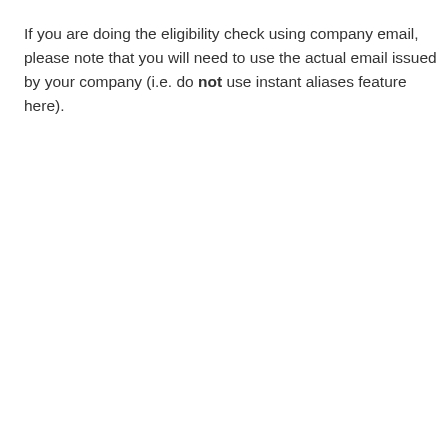If you are doing the eligibility check using company email, please note that you will need to use the actual email issued by your company (i.e. do not use instant aliases feature here).